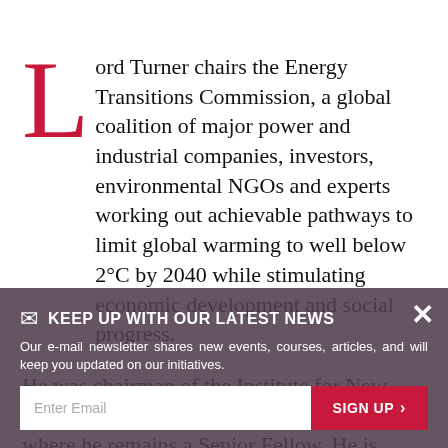Lord Turner chairs the Energy Transitions Commission, a global coalition of major power and industrial companies, investors, environmental NGOs and experts working out achievable pathways to limit global warming to well below 2°C by 2040 while stimulating economic development and social progress.
He was chairman of the Institute for New Economic Thinking until January 2019, where he remains a Senior Fellow. He is Chairman of Chubb Europe and on the Advisory Board of Envision Energy, a Shanghai-based group focussed on renewable energy, batteries and digital systems.
From 2008-2013, Lord Turner chaired the UK's